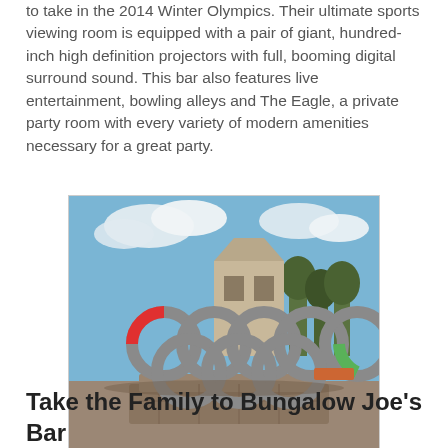to take in the 2014 Winter Olympics. Their ultimate sports viewing room is equipped with a pair of giant, hundred-inch high definition projectors with full, booming digital surround sound. This bar also features live entertainment, bowling alleys and The Eagle, a private party room with every variety of modern amenities necessary for a great party.
[Figure (photo): Photograph of large Olympic rings sculpture mounted on a stone base, outdoors, with blue sky, white clouds, trees, and buildings in the background.]
Take the Family to Bungalow Joe's Bar